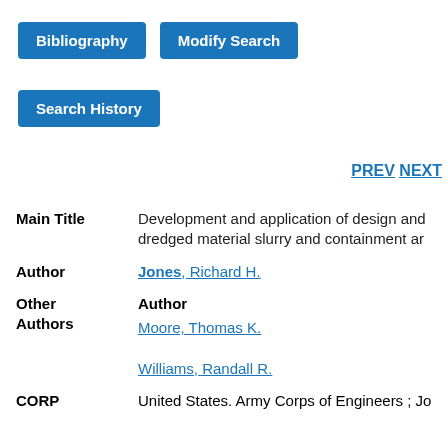Bibliography | Modify Search
Search History
PREV NEXT
| Field | Value |
| --- | --- |
| Main Title | Development and application of design and dredged material slurry and containment ar |
| Author | Jones, Richard H. |
| Other Authors | Author
Moore, Thomas K.
Williams, Randall R. |
| CORP | United States. Army Corps of Engineers ; Jo |